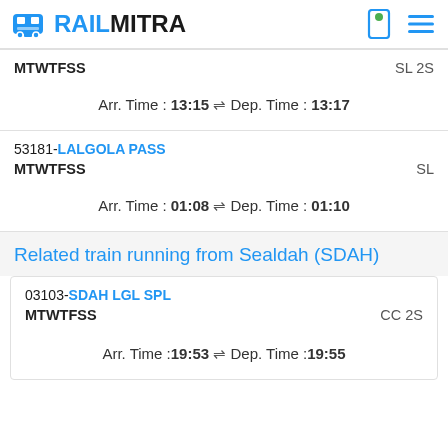RAILMITRA
MTWTFSS   SL 2S
Arr. Time : 13:15 ⇌ Dep. Time : 13:17
53181-LALGOLA PASS
MTWTFSS   SL
Arr. Time : 01:08 ⇌ Dep. Time : 01:10
Related train running from Sealdah (SDAH)
03103-SDAH LGL SPL
MTWTFSS   CC 2S
Arr. Time : 19:53 ⇌ Dep. Time : 19:55